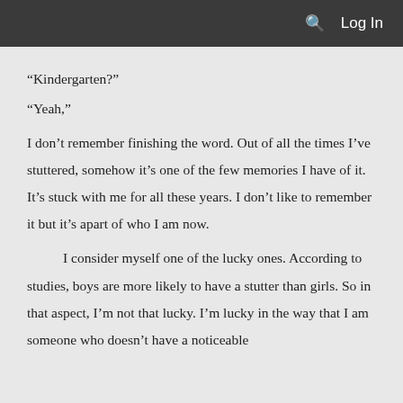Log In
“Kindergarten?”
“Yeah,”
I don’t remember finishing the word. Out of all the times I’ve stuttered, somehow it’s one of the few memories I have of it. It’s stuck with me for all these years. I don’t like to remember it but it’s apart of who I am now.
I consider myself one of the lucky ones. According to studies, boys are more likely to have a stutter than girls. So in that aspect, I’m not that lucky. I’m lucky in the way that I am someone who doesn’t have a noticeable